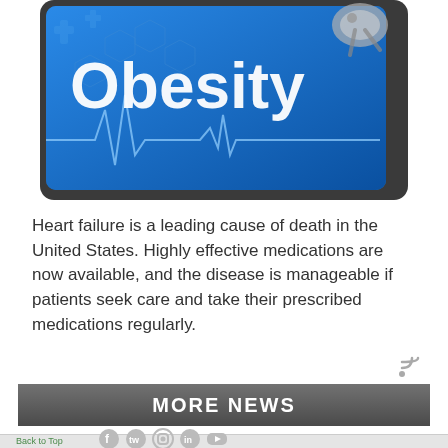[Figure (photo): A digital tablet displaying the word 'Obesity' in bold white text on a blue background with a heartbeat/ECG line pattern. A stethoscope is visible in the upper right corner. The tablet has a dark gray border.]
Heart failure is a leading cause of death in the United States. Highly effective medications are now available, and the disease is manageable if patients seek care and take their prescribed medications regularly.
[Figure (other): RSS feed icon (small WiFi-like signal icon in gray)]
MORE NEWS
Back to Top
[Figure (other): Social media icons: Facebook, Twitter, Instagram, LinkedIn, YouTube]